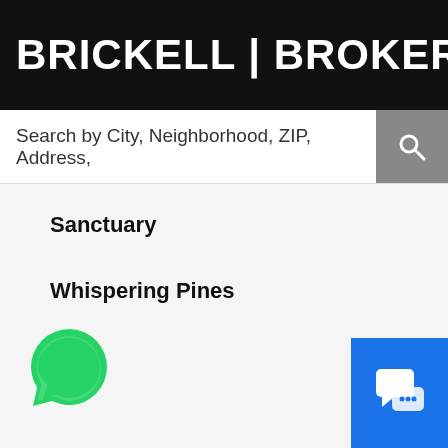BRICKELL | BROKERS
Search by City, Neighborhood, ZIP, Address,
Sanctuary
Whispering Pines
[Figure (logo): WhatsApp green phone icon button]
[Figure (infographic): Blue chat/messaging button with speech bubble icon in bottom right corner]